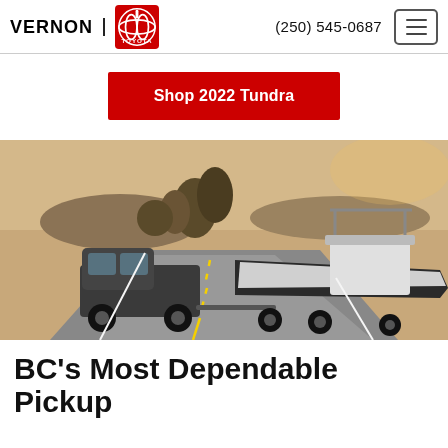VERNON TOYOTA | (250) 545-0687
Shop 2022 Tundra
[Figure (photo): A dark grey Toyota Tundra pickup truck towing a large white speedboat on a trailer down a desert highway, sunny outdoor scene with trees in background.]
BC's Most Dependable Pickup